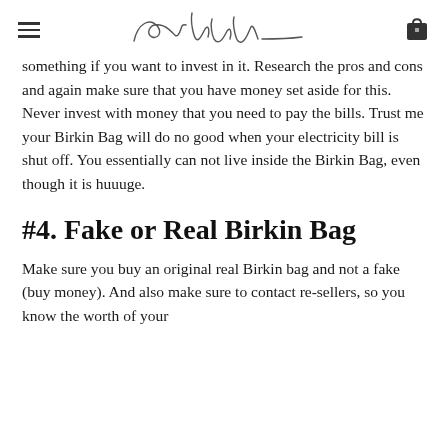eve belle [logo/signature]
something if you want to invest in it. Research the pros and cons and again make sure that you have money set aside for this. Never invest with money that you need to pay the bills. Trust me your Birkin Bag will do no good when your electricity bill is shut off. You essentially can not live inside the Birkin Bag, even though it is huuuge.
#4. Fake or Real Birkin Bag
Make sure you buy an original real Birkin bag and not a fake (buy money). And also make sure to contact re-sellers, so you know the worth of your